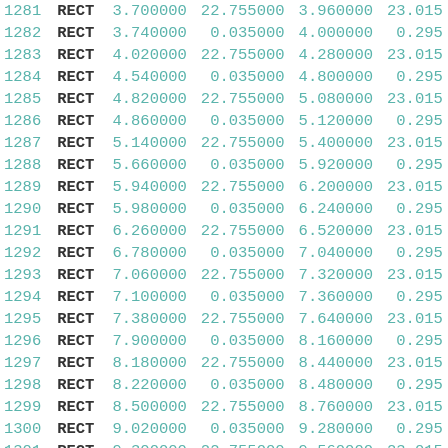| id | type | x1 | y1 | x2 | y2 |
| --- | --- | --- | --- | --- | --- |
| 1281 | RECT | 3.700000 | 22.755000 | 3.960000 | 23.015 |
| 1282 | RECT | 3.740000 | 0.035000 | 4.000000 | 0.295 |
| 1283 | RECT | 4.020000 | 22.755000 | 4.280000 | 23.015 |
| 1284 | RECT | 4.540000 | 0.035000 | 4.800000 | 0.295 |
| 1285 | RECT | 4.820000 | 22.755000 | 5.080000 | 23.015 |
| 1286 | RECT | 4.860000 | 0.035000 | 5.120000 | 0.295 |
| 1287 | RECT | 5.140000 | 22.755000 | 5.400000 | 23.015 |
| 1288 | RECT | 5.660000 | 0.035000 | 5.920000 | 0.295 |
| 1289 | RECT | 5.940000 | 22.755000 | 6.200000 | 23.015 |
| 1290 | RECT | 5.980000 | 0.035000 | 6.240000 | 0.295 |
| 1291 | RECT | 6.260000 | 22.755000 | 6.520000 | 23.015 |
| 1292 | RECT | 6.780000 | 0.035000 | 7.040000 | 0.295 |
| 1293 | RECT | 7.060000 | 22.755000 | 7.320000 | 23.015 |
| 1294 | RECT | 7.100000 | 0.035000 | 7.360000 | 0.295 |
| 1295 | RECT | 7.380000 | 22.755000 | 7.640000 | 23.015 |
| 1296 | RECT | 7.900000 | 0.035000 | 8.160000 | 0.295 |
| 1297 | RECT | 8.180000 | 22.755000 | 8.440000 | 23.015 |
| 1298 | RECT | 8.220000 | 0.035000 | 8.480000 | 0.295 |
| 1299 | RECT | 8.500000 | 22.755000 | 8.760000 | 23.015 |
| 1300 | RECT | 9.020000 | 0.035000 | 9.280000 | 0.295 |
| 1301 | RECT | 9.300000 | 22.755000 | 9.560000 | 23.015 |
| 1302 | RECT | 9.340000 | 0.035000 | 9.600000 | 0.295 |